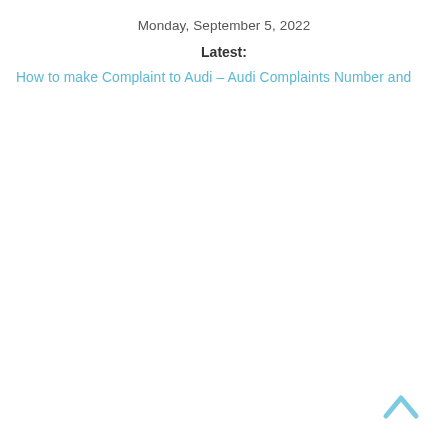Monday, September 5, 2022
Latest:
How to make Complaint to Audi – Audi Complaints Number and
[Figure (other): Back to top chevron arrow icon in light blue]